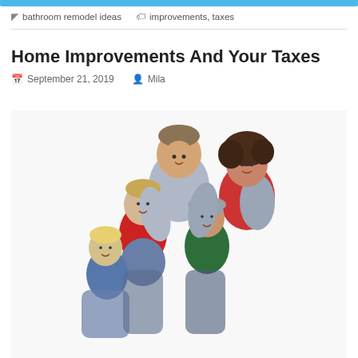bathroom remodel ideas   improvements, taxes
Home Improvements And Your Taxes
September 21, 2019   Mila
[Figure (photo): A family group photo with two adults and three children. A tall man in gray shirt stands at the back, a woman with curly hair in red plaid flannel beside him, with three boys in front. White background.]